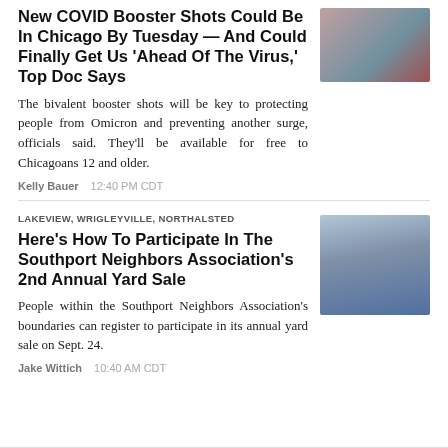New COVID Booster Shots Could Be In Chicago By Tuesday — And Could Finally Get Us 'Ahead Of The Virus,' Top Doc Says
The bivalent booster shots will be key to protecting people from Omicron and preventing another surge, officials said. They'll be available for free to Chicagoans 12 and older.
Kelly Bauer   12:40 PM CDT
LAKEVIEW, WRIGLEYVILLE, NORTHALSTED
Here's How To Participate In The Southport Neighbors Association's 2nd Annual Yard Sale
People within the Southport Neighbors Association's boundaries can register to participate in its annual yard sale on Sept. 24.
Jake Wittich   10:40 AM CDT